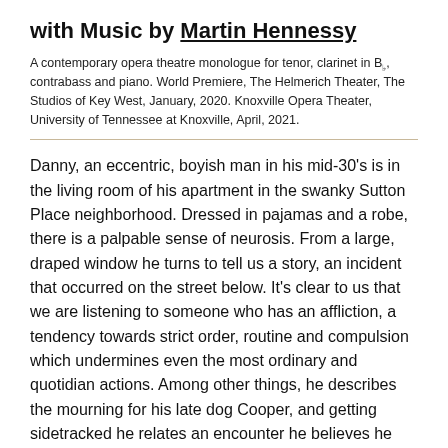with Music by Martin Hennessy
A contemporary opera theatre monologue for tenor, clarinet in B♭, contrabass and piano. World Premiere, The Helmerich Theater, The Studios of Key West, January, 2020. Knoxville Opera Theater, University of Tennessee at Knoxville, April, 2021.
Danny, an eccentric, boyish man in his mid-30's is in the living room of his apartment in the swanky Sutton Place neighborhood. Dressed in pajamas and a robe, there is a palpable sense of neurosis. From a large, draped window he turns to tell us a story, an incident that occurred on the street below. It's clear to us that we are listening to someone who has an affliction, a tendency towards strict order, routine and compulsion which undermines even the most ordinary and quotidian actions. Among other things, he describes the mourning for his late dog Cooper, and getting sidetracked he relates an encounter he believes he had, with the actress